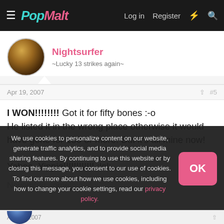PopMalt — Log in  Register
Nightsurfer
~Lucky 13 strikes again~
Apr 19, 2007   #5
I WON!!!!!!!! Got it for fifty bones :-o
He listed it in the wrong place otherwise it would have gone for 150 or more. But it's all mine now!

Yahoo, Yippie!!!!!!!!!!! :lol:
We use cookies to personalize content on our website, generate traffic analytics, and to provide social media sharing features. By continuing to use this website or by closing this message, you consent to our use of cookies. To find out more about how we use cookies, including how to change your cookie settings, read our privacy policy.
Apr 19, 2007